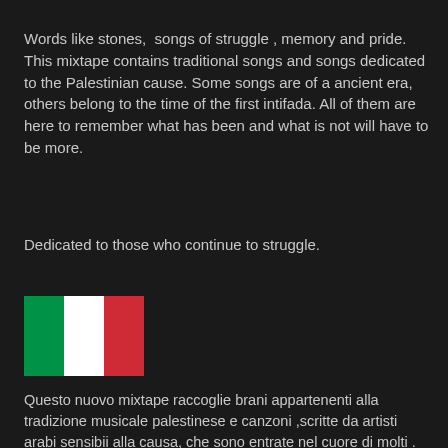Words like stones,  songs of struggle , memory and pride. This mixtape contains traditional songs and songs dedicated to the Palestinian cause. Some songs are of a ancient era, others belong to the time of the first intifada. All of them are here to remember what has been and what is not will have to be more.
Dedicated to those who continue to struggle.
[Figure (illustration): Italian flag with green, white, and red vertical stripes]
Questo nuovo mixtape raccoglie brani appartenenti alla tradizione musicale palestinese e canzoni ,scritte da artisti arabi sensibii alla causa, che sono entrate nel cuore di molti . Brani come " 'Al Yadi 'Al Yadi " ,"Ya mamoweil El Hawa ","Weyn A Ramallah ","Lamma bada yatathana", " 'al